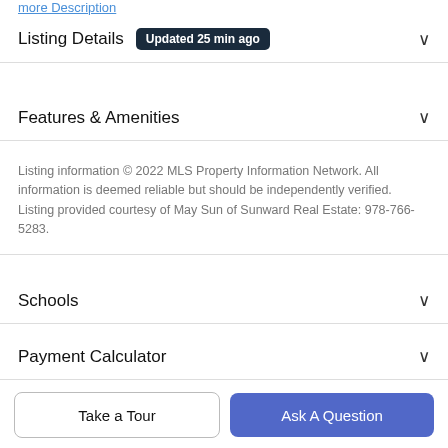more Description
Listing Details  Updated 25 min ago
Features & Amenities
Listing information © 2022 MLS Property Information Network. All information is deemed reliable but should be independently verified. Listing provided courtesy of May Sun of Sunward Real Estate: 978-766-5283.
Schools
Payment Calculator
Contact Agent
Take a Tour
Ask A Question